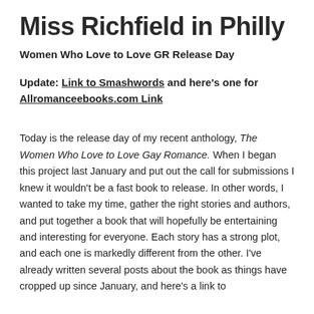Miss Richfield in Philly
Women Who Love to Love GR Release Day
Update: Link to Smashwords  and here's one for Allromanceebooks.com Link
Today is the release day of my recent anthology, The Women Who Love to Love Gay Romance. When I began this project last January and put out the call for submissions I knew it wouldn't be a fast book to release. In other words, I wanted to take my time, gather the right stories and authors, and put together a book that will hopefully be entertaining and interesting for everyone. Each story has a strong plot, and each one is markedly different from the other. I've already written several posts about the book as things have cropped up since January, and here's a link to